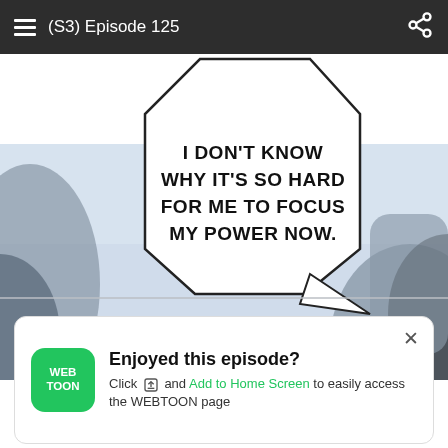(S3) Episode 125
[Figure (illustration): Manga/webtoon panel showing a speech bubble with text 'I DON'T KNOW WHY IT'S SO HARD FOR ME TO FOCUS MY POWER NOW.' and a second line 'I DID IT BEFORE' against a blue-grey background with character silhouettes]
[Figure (other): WiFi error icon (WiFi symbol with exclamation mark)]
Enjoyed this episode?
Click and Add to Home Screen to easily access the WEBTOON page